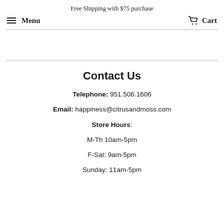Free Shipping with $75 purchase
Menu | Cart
Contact Us
Telephone: 951.506.1606
Email: happiness@citrusandmoss.com
Store Hours:
M-Th 10am-5pm
F-Sat: 9am-5pm
Sunday: 11am-5pm